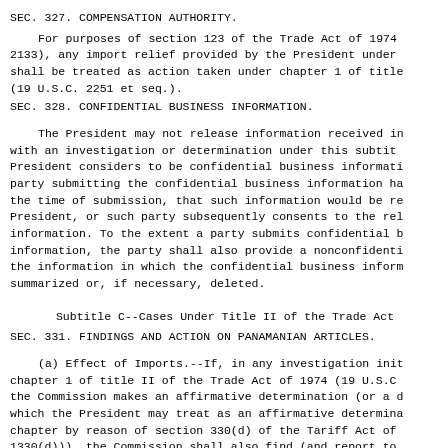SEC. 327. COMPENSATION AUTHORITY.
For purposes of section 123 of the Trade Act of 1974 2133), any import relief provided by the President under shall be treated as action taken under chapter 1 of title (19 U.S.C. 2251 et seq.).
SEC. 328. CONFIDENTIAL BUSINESS INFORMATION.
The President may not release information received in with an investigation or determination under this subtit President considers to be confidential business informati party submitting the confidential business information ha the time of submission, that such information would be re President, or such party subsequently consents to the rel information. To the extent a party submits confidential b information, the party shall also provide a nonconfidenti the information in which the confidential business inform summarized or, if necessary, deleted.
Subtitle C--Cases Under Title II of the Trade Act
SEC. 331. FINDINGS AND ACTION ON PANAMANIAN ARTICLES.
(a) Effect of Imports.--If, in any investigation init chapter 1 of title II of the Trade Act of 1974 (19 U.S.C the Commission makes an affirmative determination (or a d which the President may treat as an affirmative determina chapter by reason of section 330(d) of the Tariff Act of 1330(d))), the Commission shall also find (and report to whether this provision determining is with the